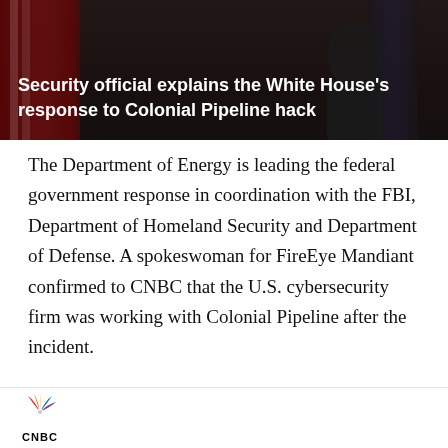[Figure (screenshot): Dark news video thumbnail banner showing American flags in background with white bold text overlay]
Security official explains the White House's response to Colonial Pipeline hack
The Department of Energy is leading the federal government response in coordination with the FBI, Department of Homeland Security and Department of Defense. A spokeswoman for FireEye Mandiant confirmed to CNBC that the U.S. cybersecurity firm was working with Colonial Pipeline after the incident.
Biden said that since the attack that struck the jugular of America's pipeline system, he has
[Figure (logo): CNBC logo with colorful peacock symbol]